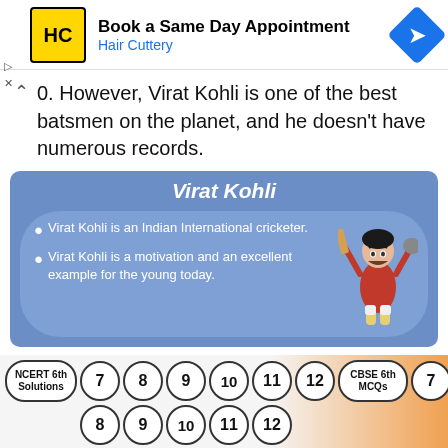[Figure (screenshot): Hair Cuttery advertisement banner: logo with HC text, Book a Same Day Appointment heading, Hair Cuttery subtext, blue navigation arrow icon]
0. However, Virat Kohli is one of the best batsmen on the planet, and he doesn't have numerous records.
[Figure (infographic): Blue info card about Virat Kohli with title, two bullet points: Virat Kohli is an Indian International cricketer. / Virat Kohli is a motivation and an excellent example for the young today. Cartoon figure of Virat Kohli on the right.]
[Figure (screenshot): Bottom navigation bar with buttons: NCERT 6th Solutions, 7, 8, 9, 10, 11, 12, CBSE 6th MCQs, 7, and second row 8, 9, 10, 11, 12]